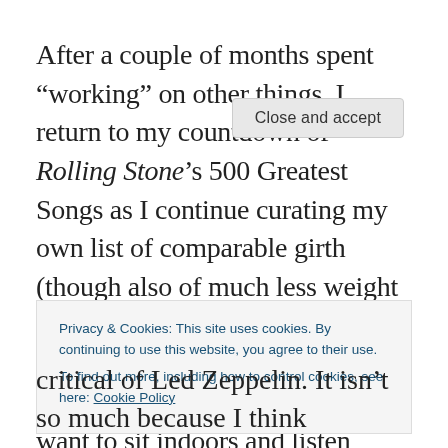After a couple of months spent “working” on other things, I return to my countdown of Rolling Stone’s 500 Greatest Songs as I continue curating my own list of comparable girth (though also of much less weight in the music community). There’s nothing like cold weather to make an overly thoughtful music critic want to sit indoors and listen
Privacy & Cookies: This site uses cookies. By continuing to use this website, you agree to their use. To find out more, including how to control cookies, see here: Cookie Policy
Close and accept
critical of Led Zeppelin. It isn’t so much because I think